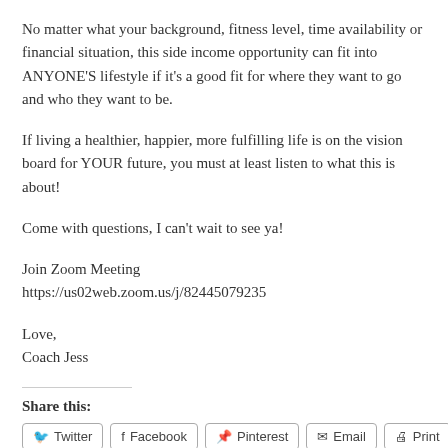No matter what your background, fitness level, time availability or financial situation, this side income opportunity can fit into ANYONE'S lifestyle if it's a good fit for where they want to go and who they want to be.
If living a healthier, happier, more fulfilling life is on the vision board for YOUR future, you must at least listen to what this is about!
Come with questions, I can't wait to see ya!
Join Zoom Meeting
https://us02web.zoom.us/j/82445079235
Love,
Coach Jess
Share this:
Twitter
Facebook
Pinterest
Email
Print